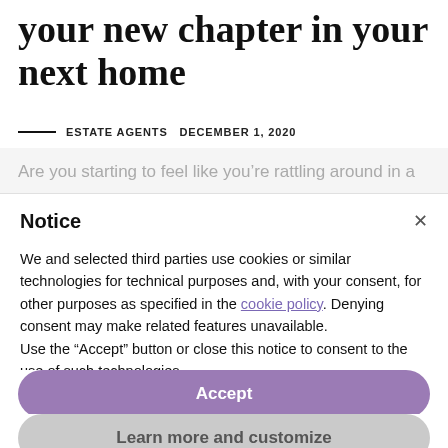your new chapter in your next home
ESTATE AGENTS  DECEMBER 1, 2020
Are you starting to feel like you’re rattling around in a
Notice
We and selected third parties use cookies or similar technologies for technical purposes and, with your consent, for other purposes as specified in the cookie policy. Denying consent may make related features unavailable.
Use the “Accept” button or close this notice to consent to the use of such technologies.
Accept
Learn more and customize